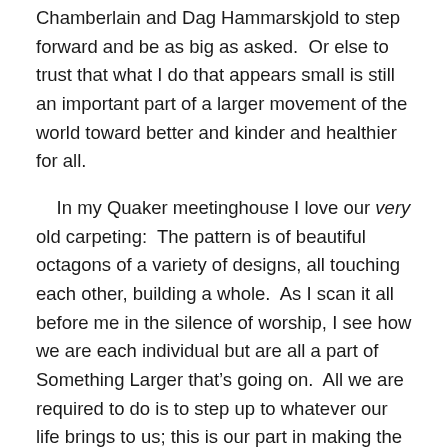Chamberlain and Dag Hammarskjold to step forward and be as big as asked.  Or else to trust that what I do that appears small is still an important part of a larger movement of the world toward better and kinder and healthier for all.
In my Quaker meetinghouse I love our very old carpeting:  The pattern is of beautiful octagons of a variety of designs, all touching each other, building a whole.  As I scan it all before me in the silence of worship, I see how we are each individual but are all a part of Something Larger that’s going on.  All we are required to do is to step up to whatever our life brings to us; this is our part in making the whole beautiful.
*******
Post Script:  Another life story comes to my mind that